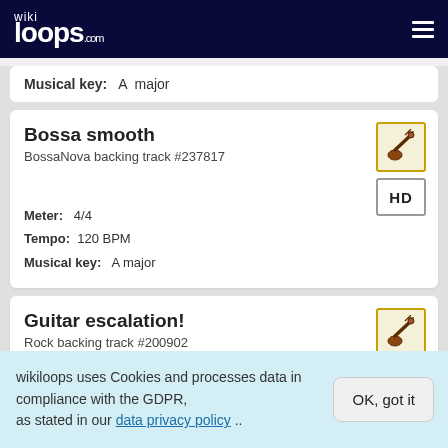wikiloops.com
Musical key: A major
Bossa smooth
BossaNova backing track #237817
Meter: 4/4
Tempo: 120 BPM
Musical key: A major
Guitar escalation!
Rock backing track #200902
wikiloops uses Cookies and processes data in compliance with the GDPR, as stated in our data privacy policy ..